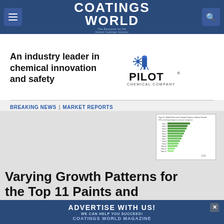Coatings World — The Resource for the Global Coatings Industry
[Figure (logo): Pilot Chemical Company logo with snowflake icon and text 'PILOT CHEMICAL COMPANY']
An industry leader in chemical innovation and safety
BREAKING NEWS | MARKET REPORTS
[Figure (bar-chart): Thumbnail horizontal bar chart showing coatings producers growth data]
Varying Growth Patterns for the Top 11 Paints and
ADVERTISE WITH US! WE CAN HELP YOU SUCCEED! COATINGS WORLD MAGAZINE